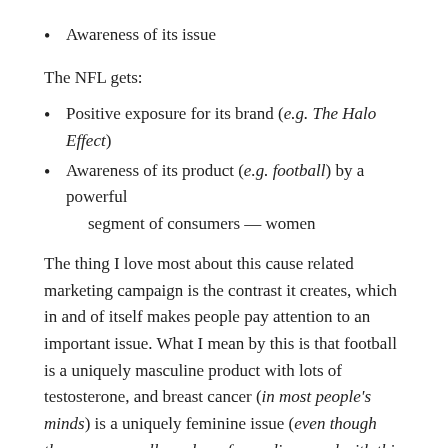Awareness of its issue
The NFL gets:
Positive exposure for its brand (e.g. The Halo Effect)
Awareness of its product (e.g. football) by a powerful segment of consumers — women
The thing I love most about this cause related marketing campaign is the contrast it creates, which in and of itself makes people pay attention to an important issue. What I mean by this is that football is a uniquely masculine product with lots of testosterone, and breast cancer (in most people's minds) is a uniquely feminine issue (even though there are a small number of men diagnosed with this cancer ever year and countless men and boys are devastated when the women in